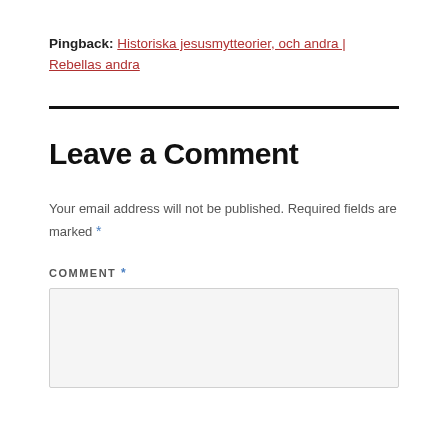Pingback: Historiska jesusmytteorier, och andra | Rebellas andra
Leave a Comment
Your email address will not be published. Required fields are marked *
COMMENT *